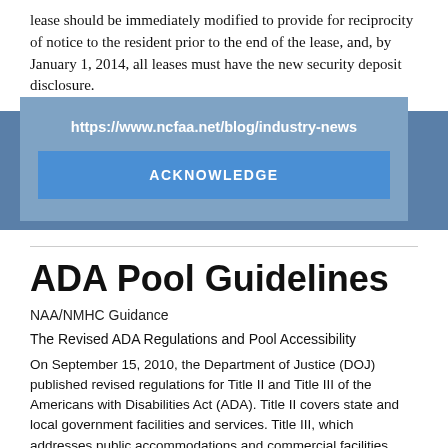lease should be immediately modified to provide for reciprocity of notice to the resident prior to the end of the lease, and, by January 1, 2014, all leases must have the new security deposit disclosure.
https://www.ncfaa.net/blog/industry-news
ACKNOWLEDGE
ADA Pool Guidelines
NAA/NMHC Guidance
The Revised ADA Regulations and Pool Accessibility
On September 15, 2010, the Department of Justice (DOJ) published revised regulations for Title II and Title III of the Americans with Disabilities Act (ADA). Title II covers state and local government facilities and services. Title III, which addresses public accommodations and commercial facilities, also limits disability in the government, and